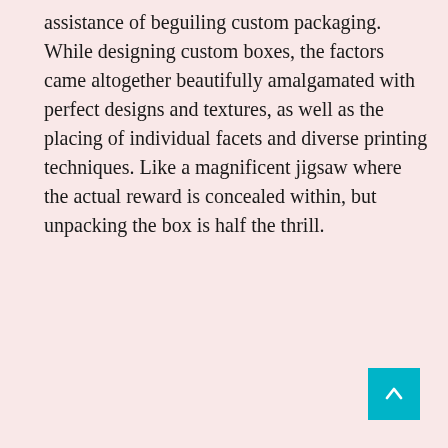assistance of beguiling custom packaging. While designing custom boxes, the factors came altogether beautifully amalgamated with perfect designs and textures, as well as the placing of individual facets and diverse printing techniques. Like a magnificent jigsaw where the actual reward is concealed within, but unpacking the box is half the thrill.
[Figure (other): Teal/cyan square button with a white upward-pointing arrow, positioned in the bottom-right corner of the page.]